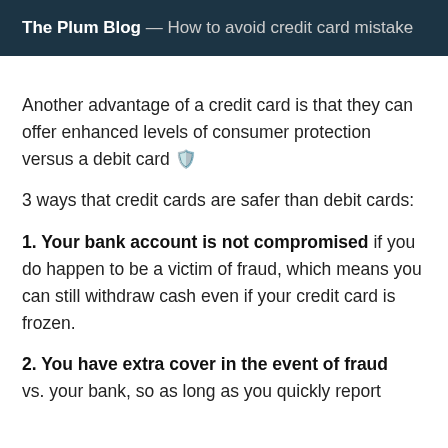The Plum Blog — How to avoid credit card mistake
Another advantage of a credit card is that they can offer enhanced levels of consumer protection versus a debit card 🛡️
3 ways that credit cards are safer than debit cards:
1. Your bank account is not compromised if you do happen to be a victim of fraud, which means you can still withdraw cash even if your credit card is frozen.
2. You have extra cover in the event of fraud vs. your bank, so as long as you quickly report